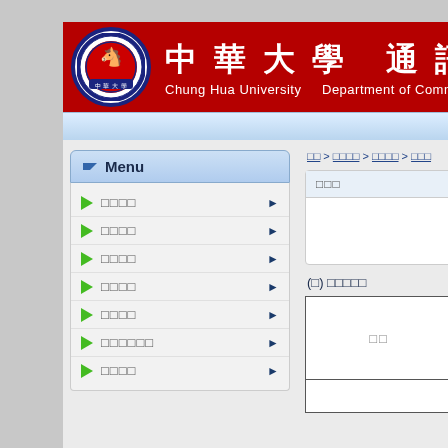[Figure (logo): Chung Hua University logo - circular emblem with horse on red background with blue border]
中華大學 通訊工程 / Chung Hua University  Department of Commun...
[Figure (screenshot): Navigation bar - light blue gradient bar]
Menu
□□□□
□□□□
□□□□
□□□□
□□□□
□□□□□□
□□□□
□□ > □□□□ > □□□□ > □□□
□□□
(□) □□□□□
□□